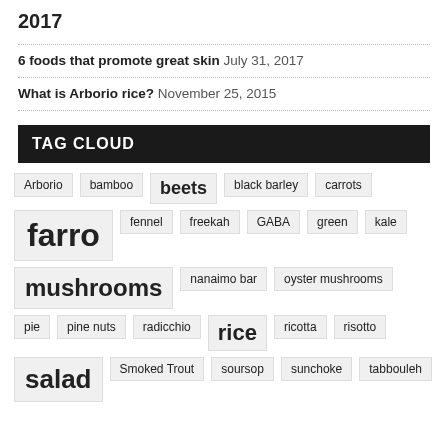2017
6 foods that promote great skin July 31, 2017
What is Arborio rice? November 25, 2015
TAG CLOUD
Arborio
bamboo
beets
black barley
carrots
farro
fennel
freekah
GABA
green
kale
mushrooms
nanaimo bar
oyster mushrooms
pie
pine nuts
radicchio
rice
ricotta
risotto
salad
Smoked Trout
soursop
sunchoke
tabbouleh